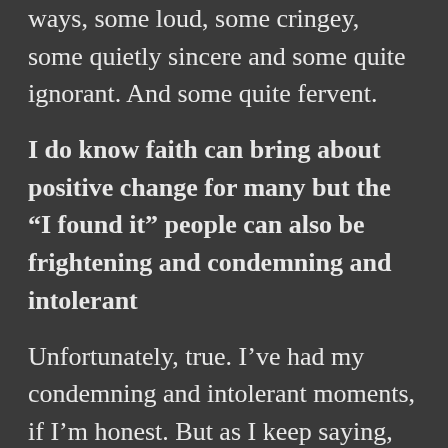ways, some loud, some cringey, some quietly sincere and some quite ignorant. And some quite fervent.
I do know faith can bring about positive change for many but the “I found it” people can also be frightening and condemning and intolerant
Unfortunately, true. I’ve had my condemning and intolerant moments, if I’m honest. But as I keep saying, it’s a growing process. Christians are no